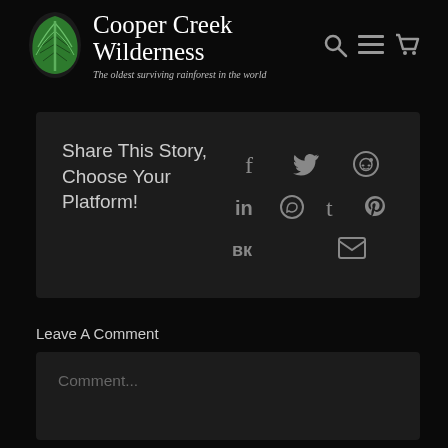Cooper Creek Wilderness — The oldest surviving rainforest in the world
Share This Story, Choose Your Platform!
Leave A Comment
Comment...